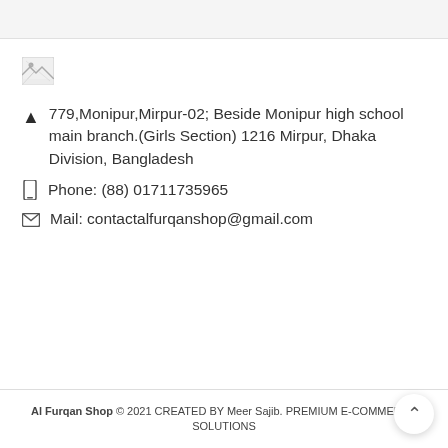[Figure (illustration): Broken/missing image placeholder icon]
779,Monipur,Mirpur-02; Beside Monipur high school main branch.(Girls Section) 1216 Mirpur, Dhaka Division, Bangladesh
Phone: (88) 01711735965
Mail: contactalfurqanshop@gmail.com
Al Furqan Shop © 2021 CREATED BY Meer Sajib. PREMIUM E-COMMERCE SOLUTIONS